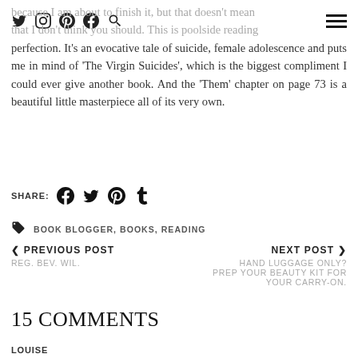because I am about to finish it, but that doesn't mean that I don't think you should. This is poolside reading perfection. It's an evocative tale of suicide, female adolescence and puts me in mind of 'The Virgin Suicides', which is the biggest compliment I could ever give another book. And the 'Them' chapter on page 73 is a beautiful little masterpiece all of its very own.
SHARE:
BOOK BLOGGER, BOOKS, READING
< PREVIOUS POST REG. BEV. WIL.
NEXT POST > HAND LUGGAGE ONLY? PREP YOUR BEAUTY KIT FOR YOUR CARRY-ON.
15 COMMENTS
LOUISE